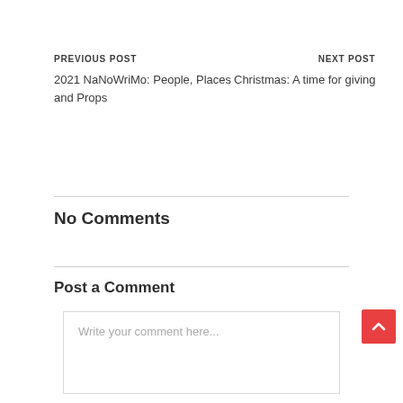PREVIOUS POST
2021 NaNoWriMo: People, Places and Props
NEXT POST
Christmas: A time for giving
No Comments
Post a Comment
Write your comment here...